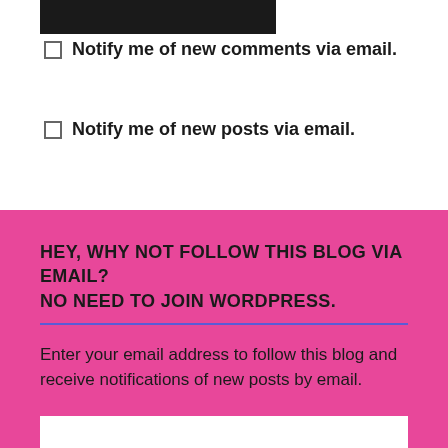Notify me of new comments via email.
Notify me of new posts via email.
HEY, WHY NOT FOLLOW THIS BLOG VIA EMAIL? NO NEED TO JOIN WORDPRESS.
Enter your email address to follow this blog and receive notifications of new posts by email.